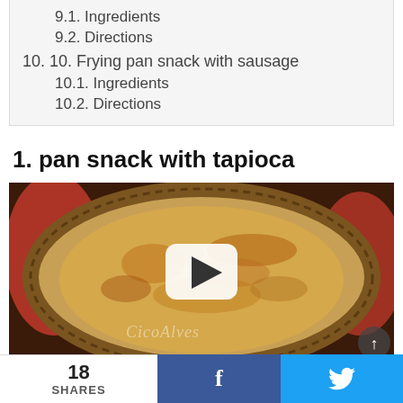9.1. Ingredients
9.2. Directions
10. 10. Frying pan snack with sausage
10.1. Ingredients
10.2. Directions
1. pan snack with tapioca
[Figure (photo): A golden-brown pan snack/tapioca crepe on a decorative plate with patterned rim, with a video play button overlay and a watermark reading 'CicoAlves']
18 SHARES  f  (Twitter bird icon)